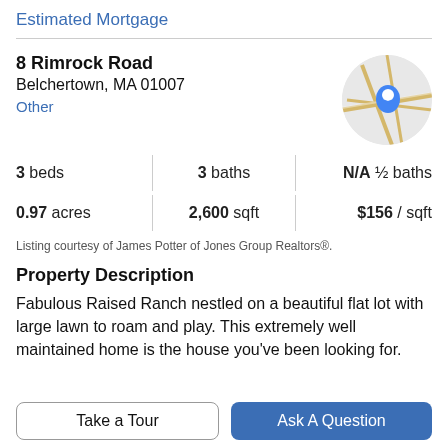Estimated Mortgage
8 Rimrock Road
Belchertown, MA 01007
Other
[Figure (map): Circular map thumbnail showing a location pin marker on a street map.]
| 3 beds | 3 baths | N/A ½ baths |
| 0.97 acres | 2,600 sqft | $156 / sqft |
Listing courtesy of James Potter of Jones Group Realtors®.
Property Description
Fabulous Raised Ranch nestled on a beautiful flat lot with large lawn to roam and play. This extremely well maintained home is the house you've been looking for.
Take a Tour
Ask A Question